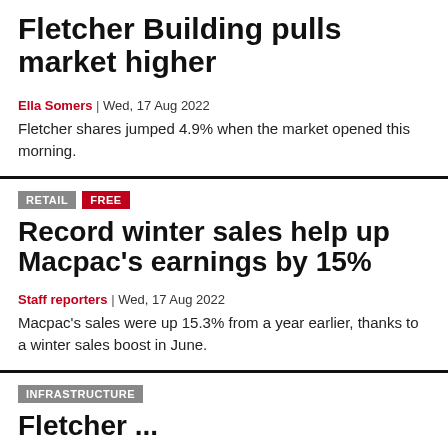Fletcher Building pulls market higher
Ella Somers | Wed, 17 Aug 2022
Fletcher shares jumped 4.9% when the market opened this morning.
RETAIL  FREE
Record winter sales help up Macpac's earnings by 15%
Staff reporters | Wed, 17 Aug 2022
Macpac's sales were up 15.3% from a year earlier, thanks to a winter sales boost in June.
INFRASTRUCTURE
Fletcher ...